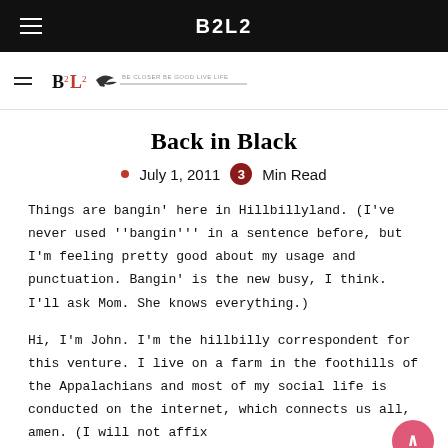B2L2
[Figure (logo): B2L2 logo with bird/arrow graphic and tagline]
Back in Black
July 1, 2011  3 Min Read
Things are bangin' here in Hillbillyland. (I've never used "bangin'" in a sentence before, but I'm feeling pretty good about my usage and punctuation. Bangin' is the new busy, I think. I'll ask Mom. She knows everything.)
Hi, I'm John. I'm the hillbilly correspondent for this venture. I live on a farm in the foothills of the Appalachians and most of my social life is conducted on the internet, which connects us all, amen. (I will not affix